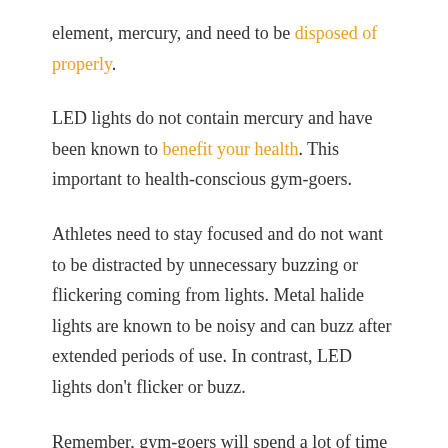element, mercury, and need to be disposed of properly.
LED lights do not contain mercury and have been known to benefit your health. This important to health-conscious gym-goers.
Athletes need to stay focused and do not want to be distracted by unnecessary buzzing or flickering coming from lights. Metal halide lights are known to be noisy and can buzz after extended periods of use. In contrast, LED lights don't flicker or buzz.
Remember, gym-goers will spend a lot of time staring at the ceiling. Commercial gym lights that use metal halide or HPS lights have been known to flicker. While this issue is not as prevalent when lighting a home gym, one of the